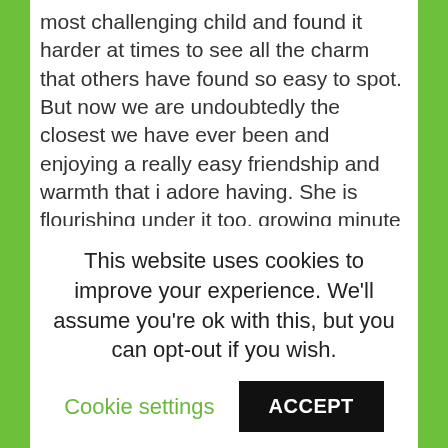most challenging child and found it harder at times to see all the charm that others have found so easy to spot. But now we are undoubtedly the closest we have ever been and enjoying a really easy friendship and warmth that i adore having. She is flourishing under it too, growing minute by minute into her bigger self and blossoming into such a beautiful, intelligent and sparky little thing. It breaks my heart when i see her get misunderstood these days because more and more i can see that she is just full of love and goodness and effusion of spirit and i know i have been partly to blame for misrepresenting her nature. Still, think we are fixed, which is perfect.
This week we have had the opportunity to get some routine back into our lives: Fran has got a bit of a passion for.
This website uses cookies to improve your experience. We'll assume you're ok with this, but you can opt-out if you wish.
Cookie settings   ACCEPT